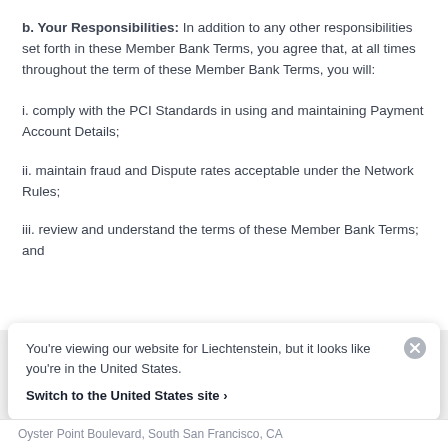b. Your Responsibilities: In addition to any other responsibilities set forth in these Member Bank Terms, you agree that, at all times throughout the term of these Member Bank Terms, you will:
i. comply with the PCI Standards in using and maintaining Payment Account Details;
ii. maintain fraud and Dispute rates acceptable under the Network Rules;
iii. review and understand the terms of these Member Bank Terms; and
You're viewing our website for Liechtenstein, but it looks like you're in the United States.
Switch to the United States site ›
Oyster Point Boulevard, South San Francisco, CA